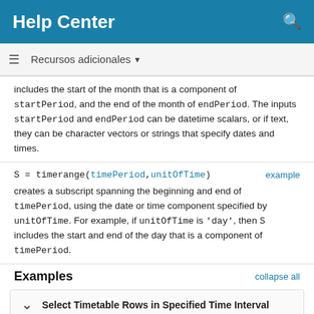Help Center
Recursos adicionales
includes the start of the month that is a component of startPeriod, and the end of the month of endPeriod. The inputs startPeriod and endPeriod can be datetime scalars, or if text, they can be character vectors or strings that specify dates and times.
S = timerange(timePeriod,unitOfTime) creates a subscript spanning the beginning and end of timePeriod, using the date or time component specified by unitOfTime. For example, if unitOfTime is 'day', then S includes the start and end of the day that is a component of timePeriod.
Examples
Select Timetable Rows in Specified Time Interval